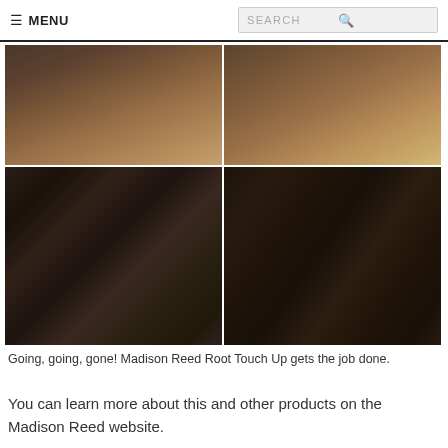☰ MENU | SEARCH
[Figure (photo): Four photos arranged in a 2x2 grid showing close-up before and after shots of hair roots. Top row shows hair with lighter/gray roots. Bottom row shows the same hair with darker roots after using Madison Reed Root Touch Up product.]
Going, going, gone! Madison Reed Root Touch Up gets the job done.
You can learn more about this and other products on the Madison Reed website.